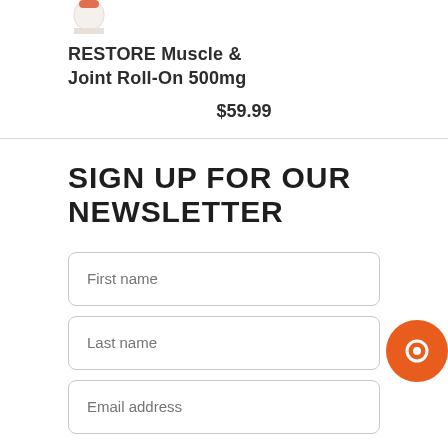[Figure (photo): Partial view of a product bottle (RESTORE Muscle & Joint Roll-On) at the top of the page]
RESTORE Muscle & Joint Roll-On 500mg
$59.99
SIGN UP FOR OUR NEWSLETTER
First name
Last name
Email address